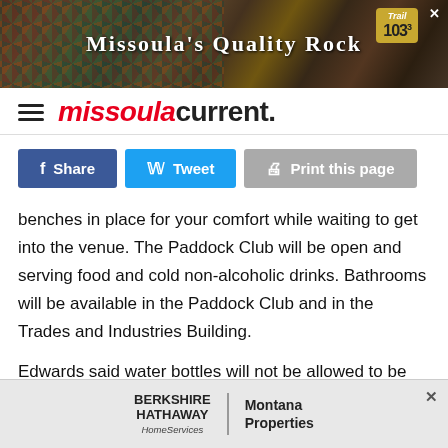[Figure (photo): Advertisement banner for Missoula's Quality Rock with Trail 103.3 badge on dark background with colorful rocks]
missoula current.
Share  Tweet  Print this page
benches in place for your comfort while waiting to get into the venue. The Paddock Club will be open and serving food and cold non-alcoholic drinks. Bathrooms will be available in the Paddock Club and in the Trades and Industries Building.
Edwards said water bottles will not be allowed to be brought into the arena but water will be available inside.
All persons attending will stay behind the barriers until the
[Figure (infographic): Advertisement for Berkshire Hathaway HomeServices Montana Properties]